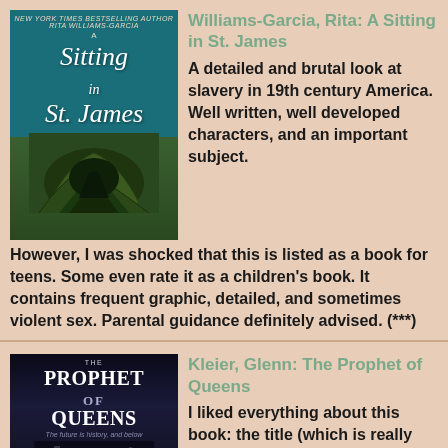[Figure (illustration): Book cover for 'A Sitting in St. James' by Rita Williams-Garcia, teal/green colored cover with stylized script title]
Williams-Garcia, Rita: A Sitting in St. James
A detailed and brutal look at slavery in 19th century America. Well written, well developed characters, and an important subject. However, I was shocked that this is listed as a book for teens. Some even rate it as a children's book. It contains frequent graphic, detailed, and sometimes violent sex. Parental guidance definitely advised. (***)
[Figure (illustration): Book cover for 'The Prophet of Queens' by Glenn Kleier, dark night cityscape with hooded figure]
Kleier, Glenn: The Prophet of Queens
I liked everything about this book: the title (which is really what the story's about), the writing, the plot, the characters, the